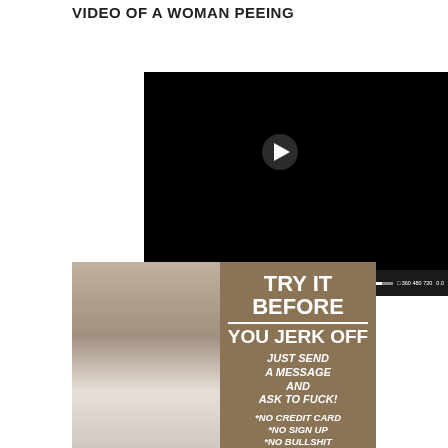VIDEO OF A WOMAN PEEING
[Figure (screenshot): Black video player with play button in center and video controls bar at bottom showing time 0:00, progress bar, volume control, resolution options 360 480 720, and score 0.0]
[Figure (photo): Photo of a woman with brown hair wearing a white top and blue cardigan on the left side]
[Figure (infographic): Brown/tan advertisement panel with white bold text: TRY IT BEFORE YOU JERK OFF, then italic text: JUST SEND A MESSAGE AND ASK TO FUCK!, then *NO CREDIT CARD *NO SIGN UP *NO BULLSHIT]